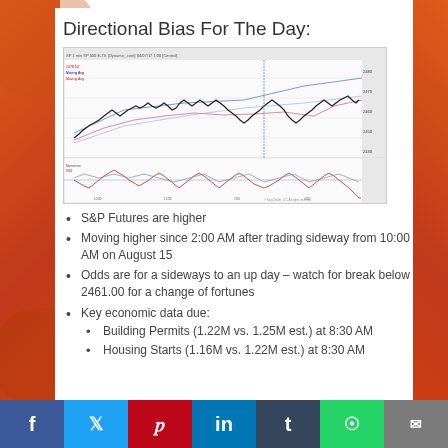Directional Bias For The Day:
[Figure (continuous-plot): S&P Futures candlestick/line chart with moving averages and a momentum/oscillator indicator panel below, showing trading activity around August 15.]
S&P Futures are higher
Moving higher since 2:00 AM after trading sideway from 10:00 AM on August 15
Odds are for a sideways to an up day – watch for break below 2461.00 for a change of fortunes
Key economic data due:
Building Permits (1.22M vs. 1.25M est.) at 8:30 AM
Housing Starts (1.16M vs. 1.22M est.) at 8:30 AM